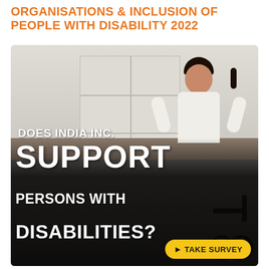ORGANISATIONS & INCLUSION OF PEOPLE WITH DISABILITY 2022
[Figure (photo): Office scene showing a smiling woman in a white shirt seated at a desk with shelving and coloured binders in the background, and a wheelchair visible in the lower right. Text overlaid on a dark gradient reads: DOES INDIA INC. SUPPORT PERSONS WITH DISABILITIES? A yellow Take Survey button appears at the bottom right.]